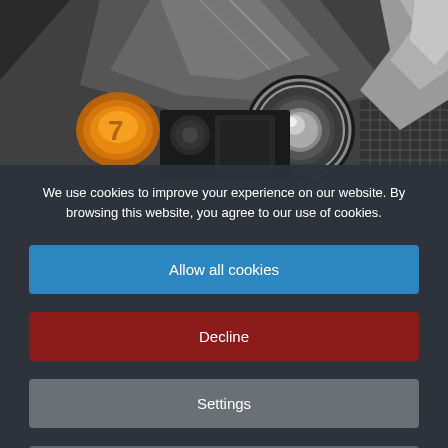[Figure (photo): Close-up photo of a severely damaged car front end showing crumpled hood, exposed headlight assembly, and bent metal panels after a collision.]
We use cookies to improve your experience on our website. By browsing this website, you agree to our use of cookies.
Allow all cookies
Decline
Settings
More Info